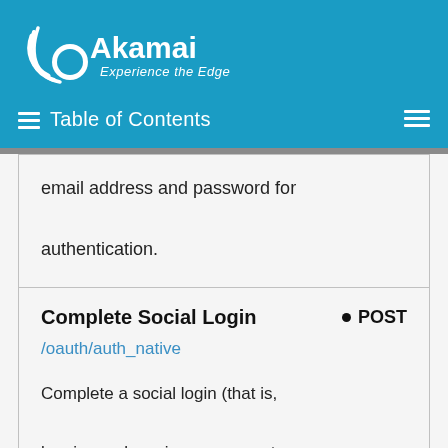Akamai Experience the Edge — Table of Contents
email address and password for authentication.
Complete Social Login
POST
/oauth/auth_native
Complete a social login (that is, logging on by using an account from a social login provider such as Facebook or Twitter).